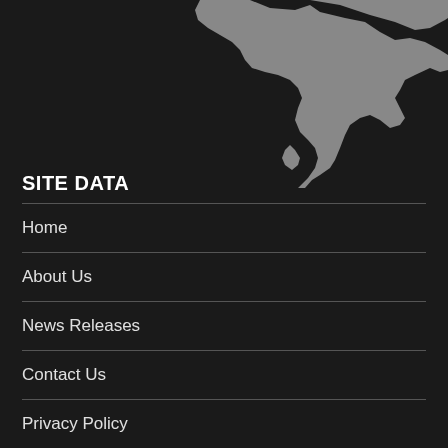[Figure (map): Partial dark map showing a gray landmass (appears to be part of Asia/India region) on a dark background, cropped at the top of the page.]
SITE DATA
Home
About Us
News Releases
Contact Us
Privacy Policy
Terms and Conditions
Archives